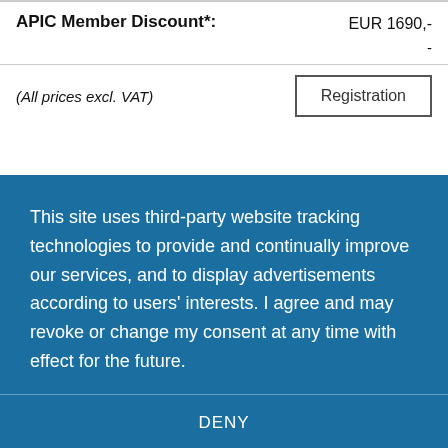APIC Member Discount*:
EUR 1690,-
-
(All prices excl. VAT)
Registration
This site uses third-party website tracking technologies to provide and continually improve our services, and to display advertisements according to users' interests. I agree and may revoke or change my consent at any time with effect for the future.
DENY
ACCEPT
MORE
Powered by usercentrics & eRecht24